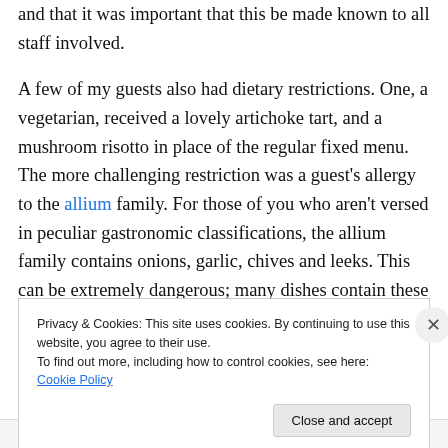and that it was important that this be made known to all staff involved.
A few of my guests also had dietary restrictions. One, a vegetarian, received a lovely artichoke tart, and a mushroom risotto in place of the regular fixed menu. The more challenging restriction was a guest's allergy to the allium family. For those of you who aren't versed in peculiar gastronomic classifications, the allium family contains onions, garlic, chives and leeks. This can be extremely dangerous; many dishes contain these
Privacy & Cookies: This site uses cookies. By continuing to use this website, you agree to their use. To find out more, including how to control cookies, see here: Cookie Policy
Close and accept